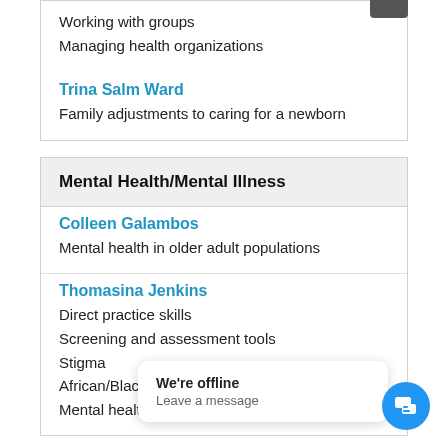Working with groups
Managing health organizations
Trina Salm Ward
Family adjustments to caring for a newborn
Mental Health/Mental Illness
Colleen Galambos
Mental health in older adult populations
Thomasina Jenkins
Direct practice skills
Screening and assessment tools
Stigma
African/Black psyc…
Mental health and…